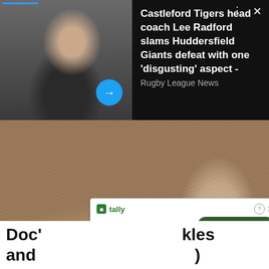[Figure (photo): News card overlay showing a man in a dark sports jacket (rugby coach) with a photo on the left and a headline text on the right against a dark background. A blue progress bar is at the top left, a blue circular arrow button is on the photo, and close/dots buttons are top right.]
Castleford Tigers head coach Lee Radford slams Huddersfield Giants defeat with one 'disgusting' aspect - Rugby League News
[Figure (photo): Extreme close-up macro photograph of aged human skin showing deep wrinkles and texture, with nose visible on the right side. Skin tones of beige, tan, and brown.]
[Figure (screenshot): Advertisement banner for Tally app - 'Fast credit card payoff' with a 'Download Now' button in dark green, info and close icons at top right.]
Doc' Fast credit card payoff kles and )